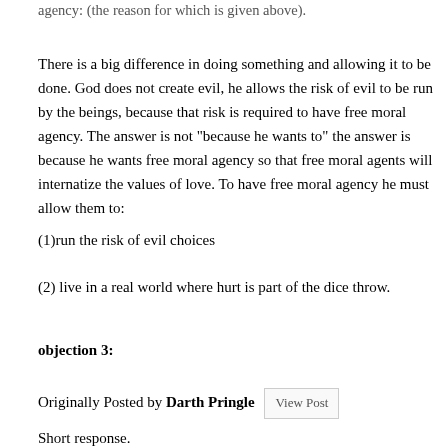agency: (the reason for which is given above).
There is a big difference in doing something and allowing it to be done. God does not create evil, he allows the risk of evil to be run by the beings, because that risk is required to have free moral agency. The answer is not "because he wants to" the answer is because he wants free moral agency so that free moral agents will internatize the values of love. To have free moral agency he must allow them to:
(1)run the risk of evil choices
(2) live in a real world where hurt is part of the dice throw.
objection 3:
Originally Posted by Darth Pringle [View Post]
Short response.